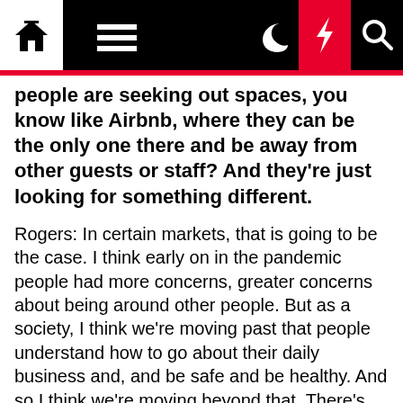[Navigation bar with home, menu, moon, bolt, and search icons]
people are seeking out spaces, you know like Airbnb, where they can be the only one there and be away from other guests or staff? And they're just looking for something different.
Rogers: In certain markets, that is going to be the case. I think early on in the pandemic people had more concerns, greater concerns about being around other people. But as a society, I think we're moving past that people understand how to go about their daily business and, and be safe and be healthy. And so I think we're moving beyond that. There's no question about it, alternative accommodations play a role in the entire landscape of what people do for travel. But most people still stay in a hotel and hotels are still rated as safer and cleaner than just about any other environment. And